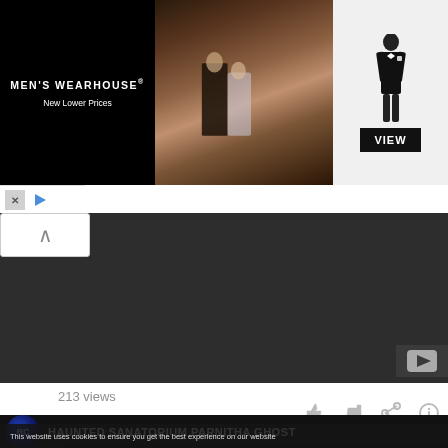[Figure (screenshot): Men's Wearhouse advertisement banner showing a couple in formal wear and a man in a tuxedo with VIEW button]
[Figure (screenshot): YouTube video player dark area with collapse chevron button and YouTube logo]
213 views
[Figure (screenshot): Thumbnail of video titled HAUNTED SANATORIUM PARNITHA GHOST with BC Paranormal Research Crew logo]
This website uses cookies to ensure you get the best experience on our website
I AGREE